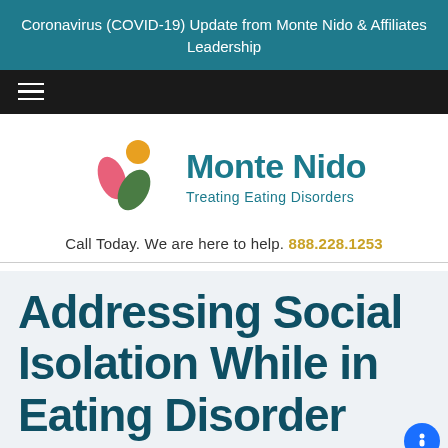Coronavirus (COVID-19) Update from Monte Nido & Affiliates Leadership
[Figure (logo): Monte Nido logo with pink, orange, and green leaf/circle shapes, with text 'Monte Nido Treating Eating Disorders']
Call Today. We are here to help. 888.228.1253
Addressing Social Isolation While in Eating Disorder